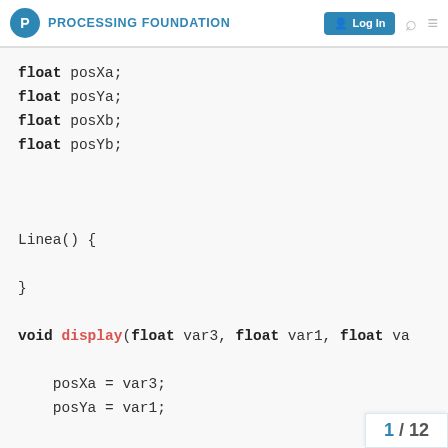PROCESSING FOUNDATION  Log In
float posXa;
float posYa;
float posXb;
float posYb;


Linea() {

}

void display(float var3, float var1, float va

  posXa = var3;
  posYa = var1;

  posYb = var2;
  line (posXa, posYa, posXa,
}
1 / 12